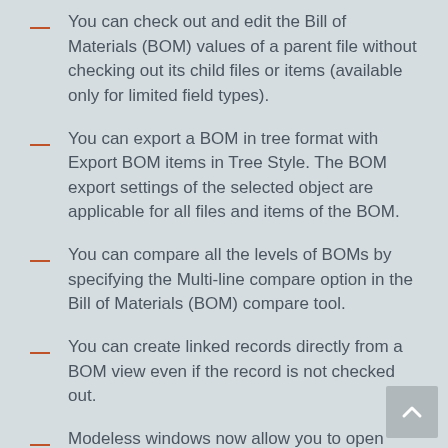You can check out and edit the Bill of Materials (BOM) values of a parent file without checking out its child files or items (available only for limited field types).
You can export a BOM in tree format with Export BOM items in Tree Style. The BOM export settings of the selected object are applicable for all files and items of the BOM.
You can compare all the levels of BOMs by specifying the Multi-line compare option in the Bill of Materials (BOM) compare tool.
You can create linked records directly from a BOM view even if the record is not checked out.
Modeless windows now allow you to open